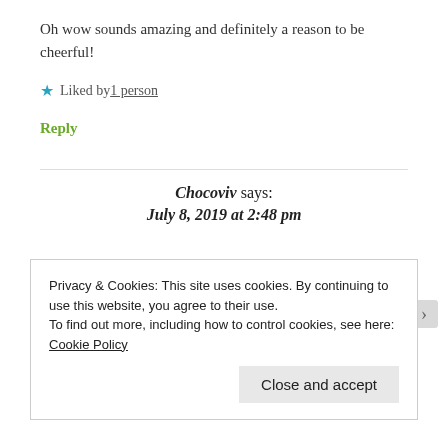Oh wow sounds amazing and definitely a reason to be cheerful!
★ Liked by 1 person
Reply
Chocoviv says: July 8, 2019 at 2:48 pm
Privacy & Cookies: This site uses cookies. By continuing to use this website, you agree to their use.
To find out more, including how to control cookies, see here: Cookie Policy
Close and accept